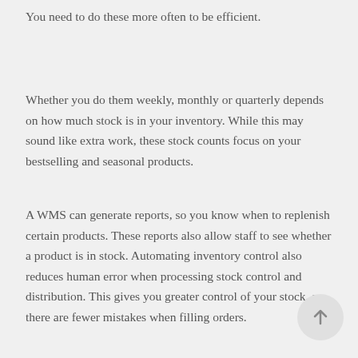You need to do these more often to be efficient.
Whether you do them weekly, monthly or quarterly depends on how much stock is in your inventory. While this may sound like extra work, these stock counts focus on your bestselling and seasonal products.
A WMS can generate reports, so you know when to replenish certain products. These reports also allow staff to see whether a product is in stock. Automating inventory control also reduces human error when processing stock control and distribution. This gives you greater control of your stock, so there are fewer mistakes when filling orders.